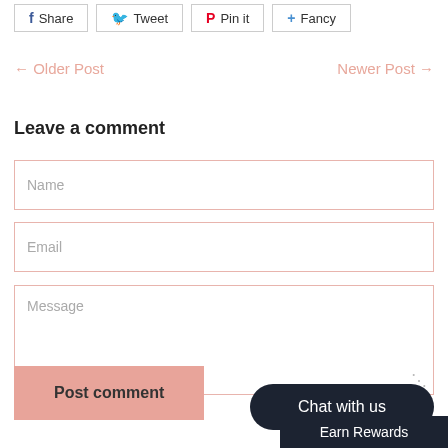[Figure (screenshot): Social share buttons row: Share (Facebook), Tweet (Twitter), Pin it (Pinterest), Fancy]
← Older Post
Newer Post →
Leave a comment
Name
Email
Message
Post comment
Chat with us
Earn Rewards